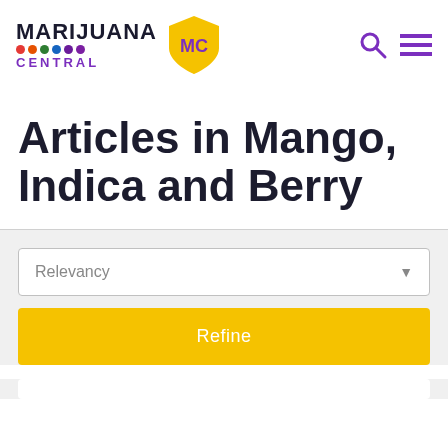[Figure (logo): Marijuana Central logo with colorful dots and yellow shield with MC initials]
Articles in Mango, Indica and Berry
Relevancy
Refine